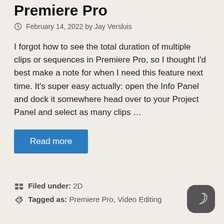Multiple Selected Clips in Premiere Pro
February 14, 2022 by Jay Versluis
I forgot how to see the total duration of multiple clips or sequences in Premiere Pro, so I thought I'd best make a note for when I need this feature next time. It's super easy actually: open the Info Panel and dock it somewhere head over to your Project Panel and select as many clips …
Read more
Filed under: 2D
Tagged as: Premiere Pro, Video Editing